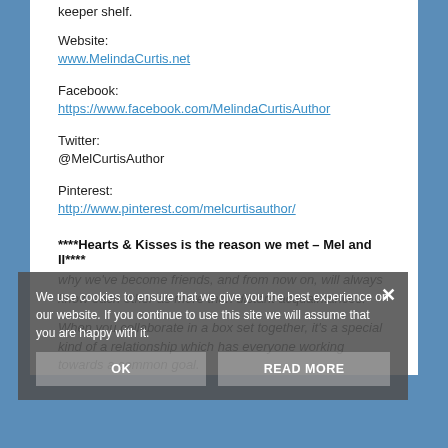keeper shelf.
Website:
www.MelindaCurtis.net
Facebook:
https://www.facebook.com/MelindaCurtisAuthor
Twitter:
@MelCurtisAuthor
Pinterest:
http://www.pinterest.com/melcurtisauthor/
****Hearts & Kisses is the reason we met – Mel and II****
why we've become friends, and from now on, will always know each other as more than distant acquaintances.
When you collaborate in a box set together, it's a special kind of a relationship which has everyone working towards a common goal.
We use cookies to ensure that we give you the best experience on our website. If you continue to use this site we will assume that you are happy with it.
OK
READ MORE